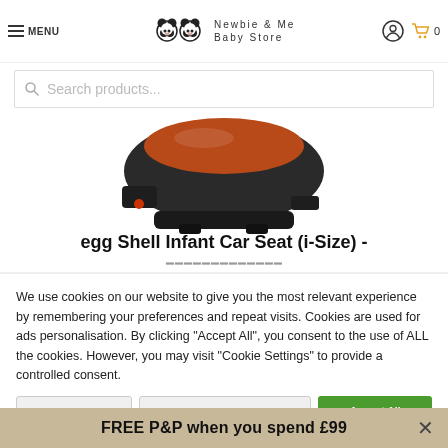MENU | Newbie & Me Baby Store | [account icon] [cart icon] 0
Search products...
[Figure (photo): Product photo of egg Shell Infant Car Seat (i-Size), showing the base of a black and orange/rust colored car seat from below/side angle on white background]
egg Shell Infant Car Seat (i-Size) -
We use cookies on our website to give you the most relevant experience by remembering your preferences and repeat visits. Cookies are used for ads personalisation. By clicking "Accept All", you consent to the use of ALL the cookies. However, you may visit "Cookie Settings" to provide a controlled consent.
FREE P&P when you spend £99